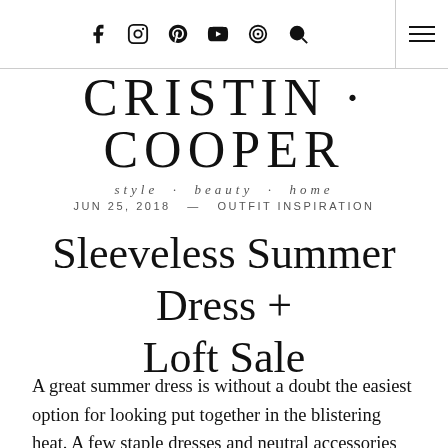f  instagram  p  youtube  target-icon  search  hamburger
CRISTIN · COOPER
style · beauty · home
JUN 25, 2018  —  OUTFIT INSPIRATION
Sleeveless Summer Dress + Loft Sale
A great summer dress is without a doubt the easiest option for looking put together in the blistering heat. A few staple dresses and neutral accessories and you're